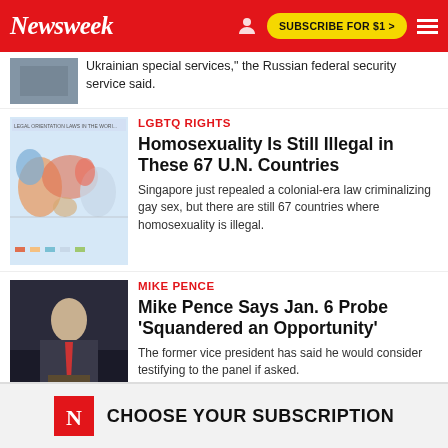Newsweek | SUBSCRIBE FOR $1 >
Ukrainian special services," the Russian federal security service said.
LGBTQ RIGHTS
Homosexuality Is Still Illegal in These 67 U.N. Countries
Singapore just repealed a colonial-era law criminalizing gay sex, but there are still 67 countries where homosexuality is illegal.
MIKE PENCE
Mike Pence Says Jan. 6 Probe 'Squandered an Opportunity'
The former vice president has said he would consider testifying to the panel if asked.
CHOOSE YOUR SUBSCRIPTION